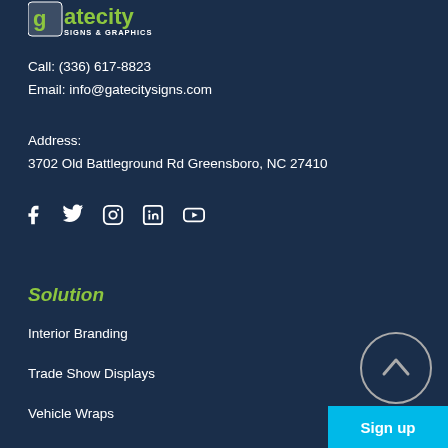[Figure (logo): Gate City Signs & Graphics logo with green and white text on dark navy background]
Call: (336) 617-8823
Email: info@gatecitysigns.com
Address:
3702 Old Battleground Rd Greensboro, NC 27410
[Figure (other): Social media icons: Facebook, Twitter, Instagram, LinkedIn, YouTube]
Solution
Interior Branding
Trade Show Displays
Vehicle Wraps
[Figure (other): Circular scroll-to-top button with upward arrow]
Sign up